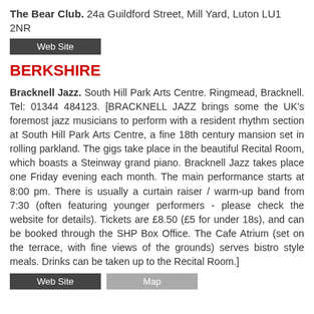The Bear Club. 24a Guildford Street, Mill Yard, Luton LU1 2NR
Web Site
BERKSHIRE
Bracknell Jazz. South Hill Park Arts Centre. Ringmead, Bracknell. Tel: 01344 484123. [BRACKNELL JAZZ brings some the UK's foremost jazz musicians to perform with a resident rhythm section at South Hill Park Arts Centre, a fine 18th century mansion set in rolling parkland. The gigs take place in the beautiful Recital Room, which boasts a Steinway grand piano. Bracknell Jazz takes place one Friday evening each month. The main performance starts at 8:00 pm. There is usually a curtain raiser / warm-up band from 7:30 (often featuring younger performers - please check the website for details). Tickets are £8.50 (£5 for under 18s), and can be booked through the SHP Box Office. The Cafe Atrium (set on the terrace, with fine views of the grounds) serves bistro style meals. Drinks can be taken up to the Recital Room.]
Web Site   Map